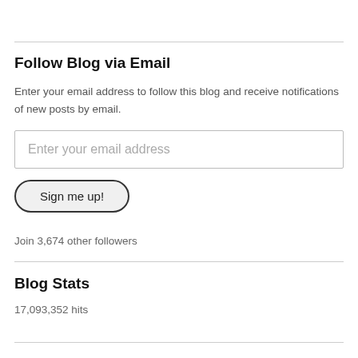Follow Blog via Email
Enter your email address to follow this blog and receive notifications of new posts by email.
Enter your email address
Sign me up!
Join 3,674 other followers
Blog Stats
17,093,352 hits